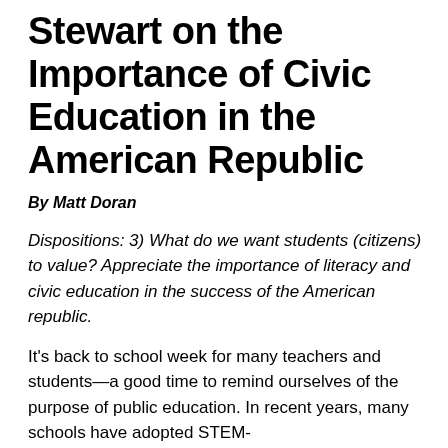Stewart on the Importance of Civic Education in the American Republic
By Matt Doran
Dispositions: 3) What do we want students (citizens) to value? Appreciate the importance of literacy and civic education in the success of the American republic.
It’s back to school week for many teachers and students—a good time to remind ourselves of the purpose of public education. In recent years, many schools have adopted STEM-